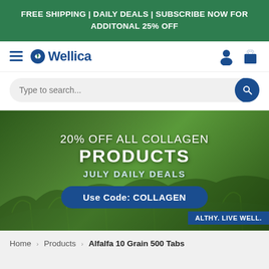FREE SHIPPING | DAILY DEALS | SUBSCRIBE NOW FOR ADDITONAL 25% OFF
[Figure (logo): Wellica logo with hamburger menu, user icon, and shopping bag icon in navy blue]
Type to search...
[Figure (photo): Green field/crop background with promotional text: 20% OFF ALL COLLAGEN PRODUCTS | JULY DAILY DEALS | Use Code: COLLAGEN | HEALTHY. LIVE WELL.]
Home > Products > Alfalfa 10 Grain 500 Tabs